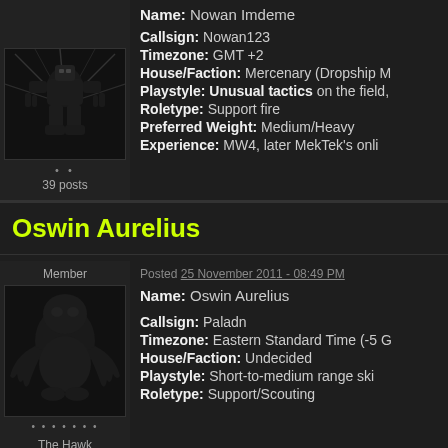[Figure (photo): Dark mech avatar image for Nowan Imdeme, black background with robot silhouette]
39 posts
Name: Nowan Imdeme
Callsign: Nowan123
Timezone: GMT +2
House/Faction: Mercenary (Dropship M...
Playstyle: Unusual tactics on the field,
Roletype: Support fire
Preferred Weight: Medium/Heavy
Experience: MW4, later MekTek's onli...
Oswin Aurelius
Member
[Figure (photo): Dark mech avatar image for Oswin Aurelius, silhouette creature on dark background]
The Hawk
Posted 25 November 2011 - 08:49 PM
Name: Oswin Aurelius
Callsign: Paladn
Timezone: Eastern Standard Time (-5 G...
House/Faction: Undecided
Playstyle: Short-to-medium range ski...
Roletype: Support/Scouting